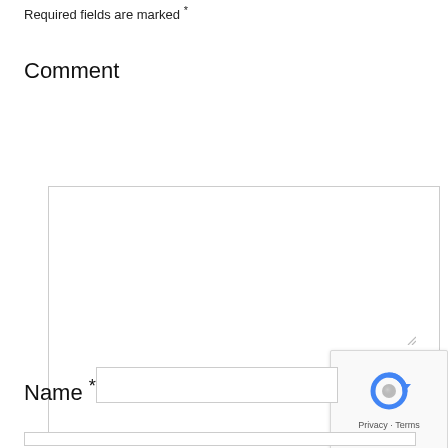Required fields are marked *
Comment
[Figure (screenshot): Empty comment textarea with resize handle at bottom right]
Name *
[Figure (screenshot): reCAPTCHA badge showing spinning arrow logo and Privacy - Terms text]
[Figure (screenshot): Empty name text input field]